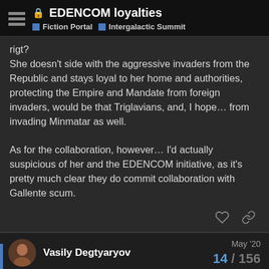EDENCOM loyalties | Fiction Portal | Intergalactic Summit
rigt?
She doesn't side with the aggressive invaders from the Republic and stays loyal to her home and authorities, protecting the Empire and Mandate from foreign invaders, would be that Triglavians, and, I hope… from invading Minmatar as well.

As for the collaboration, however… I'd actually suspicious of her and the EDENCOM initiative, as it's pretty much clear they do commit collaboration with Gallente scum.
Vasily Degtyaryov  May '20  14 / 156